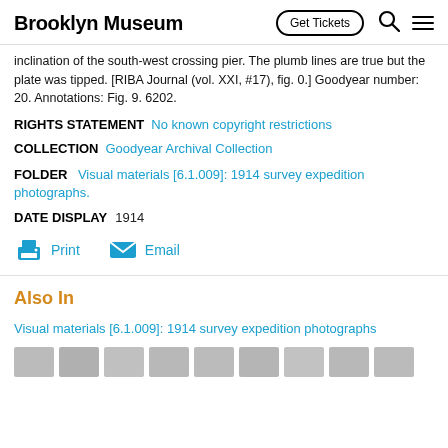Brooklyn Museum | Get Tickets
inclination of the south-west crossing pier. The plumb lines are true but the plate was tipped. [RIBA Journal (vol. XXI, #17), fig. 0.] Goodyear number: 20. Annotations: Fig. 9. 6202.
RIGHTS STATEMENT  No known copyright restrictions
COLLECTION  Goodyear Archival Collection
FOLDER  Visual materials [6.1.009]: 1914 survey expedition photographs.
DATE DISPLAY  1914
Print  Email
Also In
Visual materials [6.1.009]: 1914 survey expedition photographs